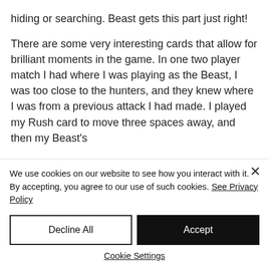hiding or searching. Beast gets this part just right!
There are some very interesting cards that allow for brilliant moments in the game. In one two player match I had where I was playing as the Beast, I was too close to the hunters, and they knew where I was from a previous attack I had made. I played my Rush card to move three spaces away, and then my Beast's
We use cookies on our website to see how you interact with it. By accepting, you agree to our use of such cookies. See Privacy Policy
Decline All
Accept
Cookie Settings